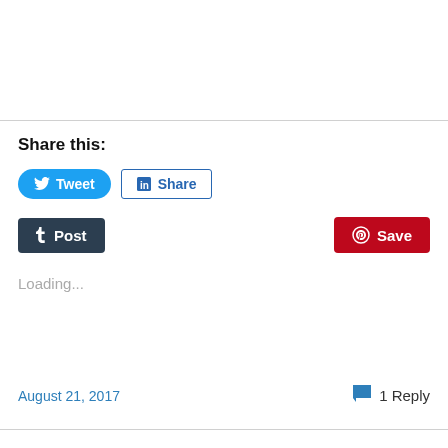Share this:
[Figure (other): Social share buttons: Tweet (Twitter), Share (LinkedIn), Post (Tumblr), Save (Pinterest)]
Loading...
August 21, 2017   1 Reply